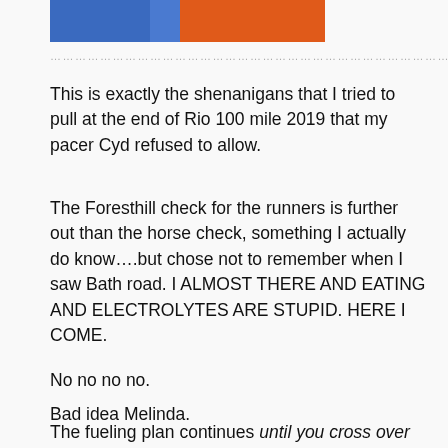[Figure (photo): Partial photo showing people wearing blue and orange clothing, cropped to a horizontal strip at the top of the page]
………………………………………………………………………………………………………………………………………………
This is exactly the shenanigans that I tried to pull at the end of Rio 100 mile 2019 that my pacer Cyd refused to allow.
The Foresthill check for the runners is further out than the horse check, something I actually do know….but chose not to remember when I saw Bath road. I ALMOST THERE AND EATING AND ELECTROLYTES ARE STUPID. HERE I COME.
No no no no.
Bad idea Melinda.
The fueling plan continues until you cross over the damn finish line. If you are actually stepping foot over the finish